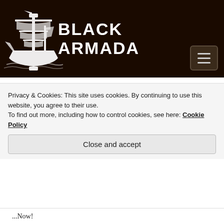[Figure (logo): Black Armada website header with ship logo on dark/black background and site title 'BLACK ARMADA' in white bold text, with hamburger menu toggle button]
RABALIAS
March 22, 2013 at 7:37 am
Hmmm, awkward. I’ve been talking about the shadow game for over a year, though, FWIW – it’s the game I keep saying I want
Privacy & Cookies: This site uses cookies. By continuing to use this website, you agree to their use.
To find out more, including how to control cookies, see here: Cookie Policy
Close and accept
...Now!